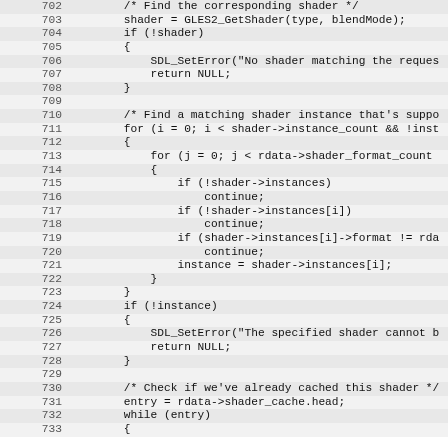Source code listing lines 702-733, C code for shader lookup and caching logic